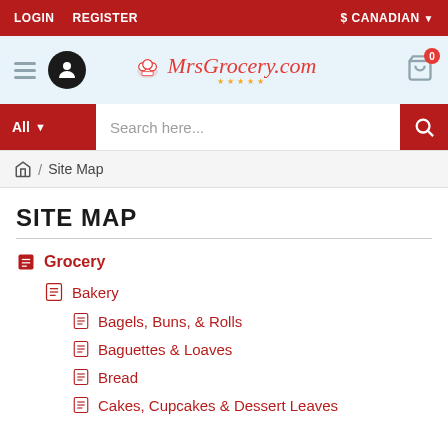LOGIN  REGISTER  $ CANADIAN
[Figure (logo): MrsGrocery.com logo with chef hat icon, user icon, hamburger menu, and cart with 0 badge]
All ▾  Search here...
🏠 / Site Map
SITE MAP
Grocery
Bakery
Bagels, Buns, & Rolls
Baguettes & Loaves
Bread
Cakes, Cupcakes & Dessert Leaves